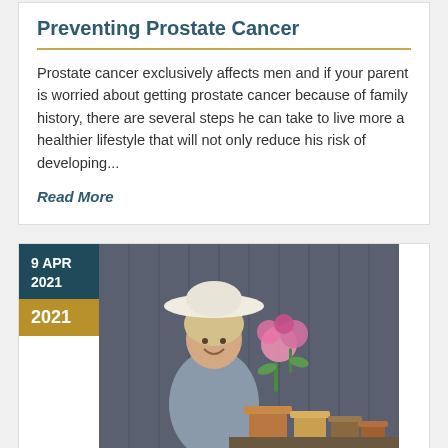Preventing Prostate Cancer
Prostate cancer exclusively affects men and if your parent is worried about getting prostate cancer because of family history, there are several steps he can take to live more a healthier lifestyle that will not only reduce his risk of developing...
Read More
9 APR 2021
2021
[Figure (photo): Elderly woman in a white sun hat smiling while gardening, surrounded by pink flowers and clay pots]